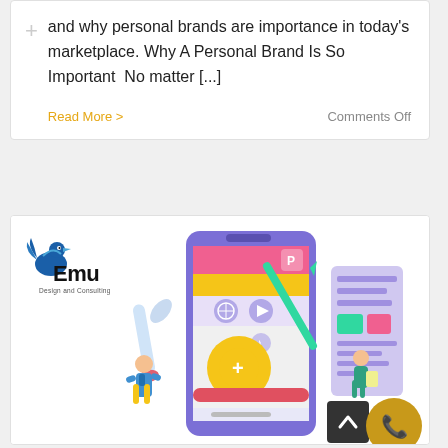and why personal brands are importance in today's marketplace. Why A Personal Brand Is So Important  No matter [...]
Read More >
Comments Off
[Figure (logo): Emu Design and Consulting logo with blue bird graphic]
[Figure (illustration): App design and mobile UI illustration showing a large smartphone with colorful interface elements, two small illustrated people, a wrench icon, and a tablet screen. Purple, pink, teal, and yellow color scheme.]